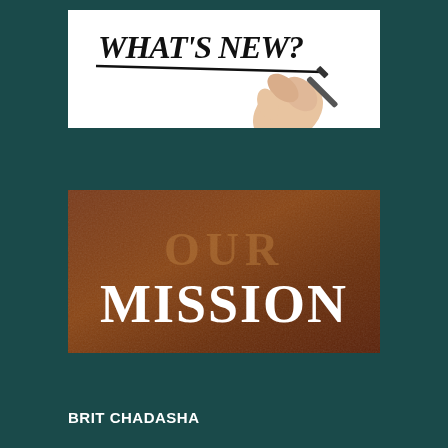[Figure (illustration): Hand holding a marker writing 'WHAT'S NEW?' in bold italic text with an underline on a white background]
[Figure (illustration): Brown textured background with 'OUR' in large faded serif text and 'MISSION' in large bold white serif text below it]
BRIT CHADASHA